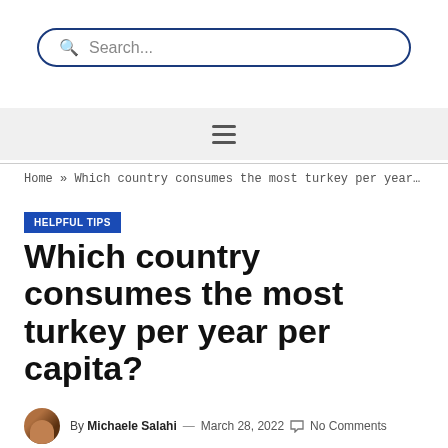Search...
Home » Which country consumes the most turkey per year per capit...
HELPFUL TIPS
Which country consumes the most turkey per year per capita?
By Michaele Salahi — March 28, 2022  No Comments